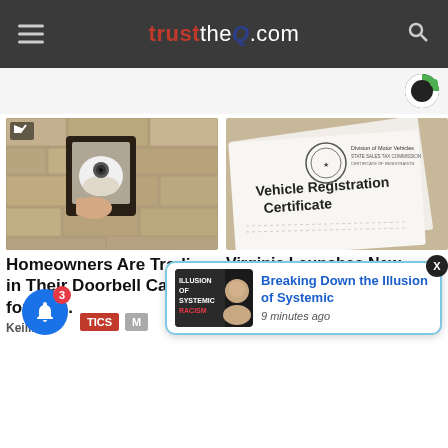trusttheQ.com
[Figure (photo): A person's hand adjusting a security camera mounted in a decorative wall lantern fixture on a stone wall. A small play/mute icon is visible in the upper left corner of the image.]
Homeowners Are Trading in Their Doorbell Cams for This.
Keilini
[Figure (photo): A Vehicle Registration Certificate document from the Division of Motor Vehicles / Star Sales Tax Commission photographed at an angle on a desk.]
Virginia Launches New Policy for Cars Used Less Than 50 Miles/day
Smart Lifestyle Trends
[Figure (photo): Thumbnail image for 'Breaking Down the Illusion of Systemic Racism' showing text overlay on a dark background with a man's face.]
Breaking Down the Illusion of Systemic
9 minutes ago